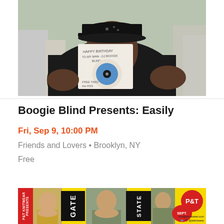[Figure (photo): Man in black baseball cap and black t-shirt holding a vinyl record with handwritten text 'Happy Birthday to my man DJ Boogie Blind' and a blue label. Urban street background.]
Boogie Blind Presents: Easily
Fri, Sep 9, 10:00 PM
Friends and Lovers • Brooklyn, NY
Free
[Figure (advertisement): P&T Knitwear advertisement on yellow background with red panels, two women's photos, black vertical panels with large text 'GATE' and 'STATE', a red circular SEPT. badge, and P&T circular logo. Contact info: info@ptknitwear.com, Twitter/Instagram @ptknitwear]